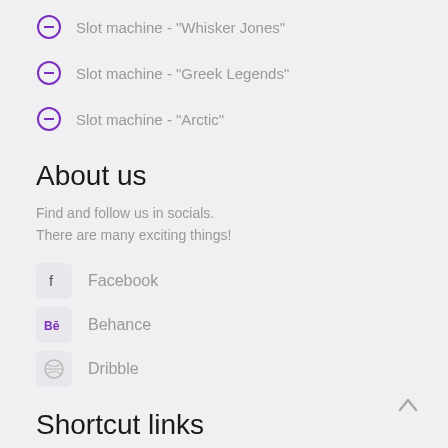Slot machine - 'Whisker Jones'
Slot machine - 'Greek Legends'
Slot machine - 'Arctic'
About us
Find and follow us in socials.
There are many exciting things!
Facebook
Behance
Dribble
Shortcut links
Check out our new slots, which we've designed with the be team!